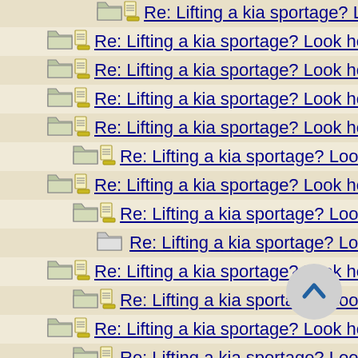Re: Lifting a kia sportage? Look here first! Also tire size reco...
Re: Lifting a kia sportage? Look here first! Also tire size reco...
Re: Lifting a kia sportage? Look here first! Also tire size reco...
Re: Lifting a kia sportage? Look here first! Also tire size reco...
Re: Lifting a kia sportage? Look here first! Also tire size reco...
Re: Lifting a kia sportage? Look here first! Also tire size rec...
Re: Lifting a kia sportage? Look here first! Also tire size reco...
Re: Lifting a kia sportage? Look here first! Also tire size rec...
Re: Lifting a kia sportage? Look here first! Also tire size r...
Re: Lifting a kia sportage? Look here first! Also tire size reco...
Re: Lifting a kia sportage? Look here first! Also tire size rec...
Re: Lifting a kia sportage? Look here first! Also tire size reco...
Re: Lifting a kia sportage? Look here first! Also tire size rec...
Re: Lifting a kia sportage? Look here first! Also tire size r...
Re: Lifting a kia sportage? Look here first! Also tire siz...
Re: Lifting a kia sportage? Look here first! Also tire size reco...
Re: Lifting a kia sportage? Look here first! Also tire size rec...
Re: Lifting a kia sportage? Look here first! Also tire size reco...